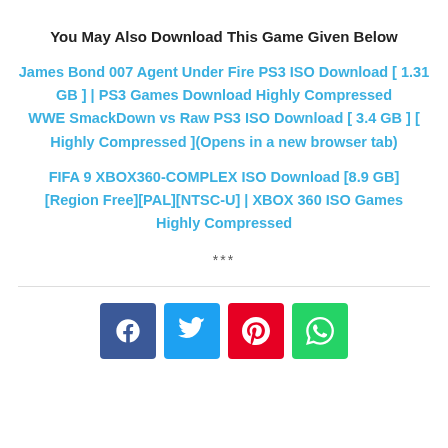You May Also Download This Game Given Below
James Bond 007 Agent Under Fire PS3 ISO Download [ 1.31 GB ] | PS3 Games Download Highly Compressed
WWE SmackDown vs Raw PS3 ISO Download [ 3.4 GB ] [ Highly Compressed ](Opens in a new browser tab)
FIFA 9 XBOX360-COMPLEX ISO Download [8.9 GB] [Region Free][PAL][NTSC-U] | XBOX 360 ISO Games Highly Compressed
***
[Figure (other): Social sharing buttons: Facebook, Twitter, Pinterest, WhatsApp]